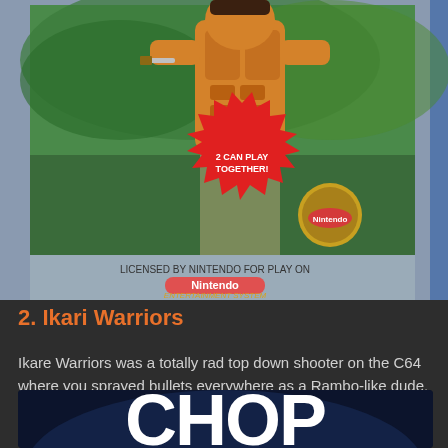[Figure (photo): NES game box art for Ikari Warriors showing a muscular shirtless warrior holding a knife, with jungle battle scene behind him, a red starburst badge reading '2 CAN PLAY TOGETHER!', Nintendo licensing text, and Entertainment System branding. The box has a gray/blue border typical of NES cartridge boxes.]
2. Ikari Warriors
Ikare Warriors was a totally rad top down shooter on the C64 where you sprayed bullets everywhere as a Rambo-like dude. It was really difficult, too.
[Figure (photo): Partial game title screen or box art showing large white text reading 'CHOP' on a dark blue/black background, partially cropped at bottom of page.]